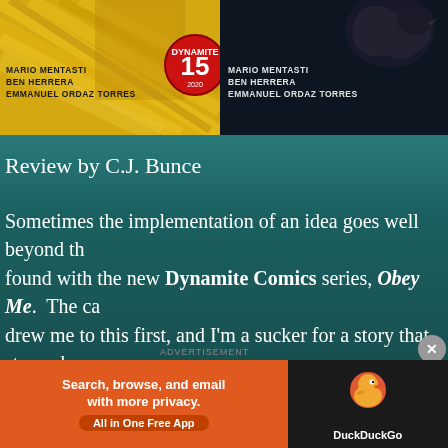[Figure (illustration): Comic book covers side by side. Left: yellow/gold diagonal lines background with text 'MARIO MENTASTI BEN HERRERA EMMANUEL ORDAZ TORRES' and Dynamite 15 logo. Right: dark background with same authors text and a dark bird/crow figure.]
Review by C.J. Bunce
Sometimes the implementation of an idea goes well beyond th[e original concept]. [I] found with the new Dynamite Comics series, Obey Me. The ca[ver art] drew me to this first, and I'm a sucker for a story that stars a h[armonica player, reminiscent] of the movie Crossroads, a 1986 film written by John Fusco that [features a bluesman who] sold his soul to the devil. A kid comes along (played by Ralph [Macchio] to save) his life, and the result is a true American classic, steeped in my[thology]. In Obey Me, a young woman bounty hunter is tasked with huntin[g a man who] has broken his contract with the devil. She is joined by a talki[ng demon] of sorts–and must go through several bodyguards to get to her [target] through some mouthy dialogue and murderous camarade[rie]
[Figure (illustration): DuckDuckGo advertisement banner. Orange left panel with text 'Search, browse, and email with more privacy. All in One Free App'. Right panel dark with DuckDuckGo logo duck icon and 'DuckDuckGo' text.]